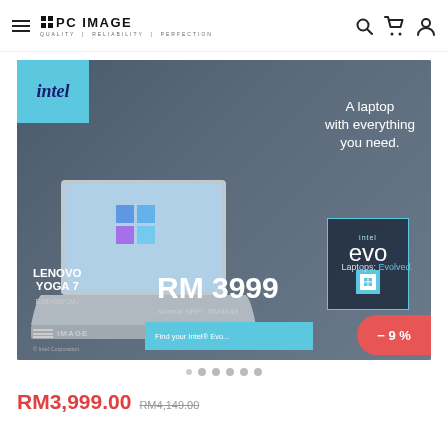PC IMAGE — QUALITY | RELIABILITY | PERFECTION
[Figure (photo): PC Image website screenshot showing a Lenovo Yoga 7 laptop advertisement banner with Intel Evo branding. Banner includes laptop image, tagline 'A laptop with everything you need.', price RM 3999, Normal SRP: RM4149, and a discount badge showing -9%]
RM3,999.00  RM4,149.00